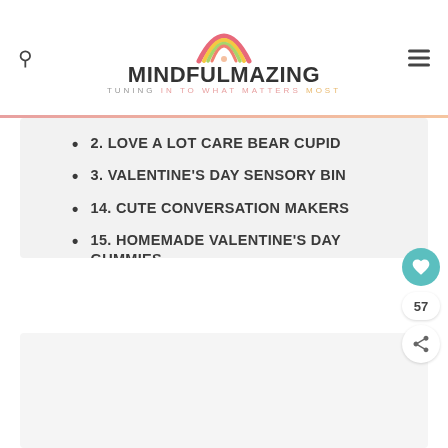[Figure (logo): Mindfulmazing logo with rainbow graphic above text. Text reads MINDFULMAZING in bold outlined letters with tagline TUNING IN TO WHAT MATTERS MOST below.]
2. LOVE A LOT CARE BEAR CUPID
3. VALENTINE'S DAY SENSORY BIN
14. CUTE CONVERSATION MAKERS
15. HOMEMADE VALENTINE'S DAY GUMMIES
FINAL THOUGHTS ON VALENTINE'S DAY ACTIVITIES FOR KIDS
[Figure (other): White/light gray area at bottom of page, partially showing content below fold.]